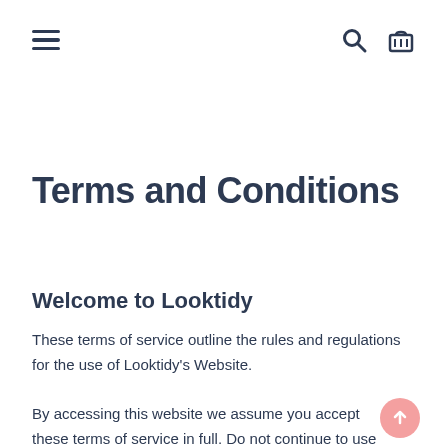≡ [search icon] [cart icon]
Terms and Conditions
Welcome to Looktidy
These terms of service outline the rules and regulations for the use of Looktidy's Website.
By accessing this website we assume you accept these terms of service in full. Do not continue to use Looktidy's